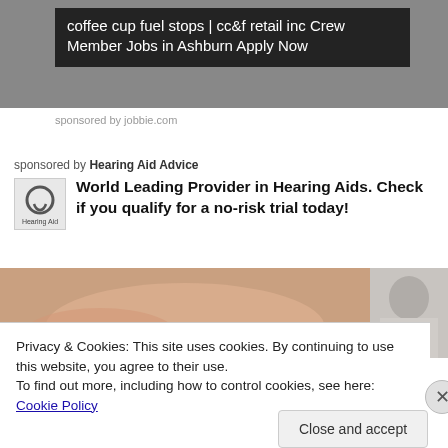[Figure (screenshot): Dark background banner area with a dark overlay text block showing an advertisement for coffee cup fuel stops.]
coffee cup fuel stops | cc&f retail inc Crew Member Jobs in Ashburn Apply Now
sponsored by jobbie.com
sponsored by Hearing Aid Advice
World Leading Provider in Hearing Aids. Check if you qualify for a no-risk trial today!
[Figure (photo): Photo strip showing a hand holding a small hearing aid on the left, and the side profile of a person's head/ear on the right.]
Privacy & Cookies: This site uses cookies. By continuing to use this website, you agree to their use.
To find out more, including how to control cookies, see here: Cookie Policy
Close and accept